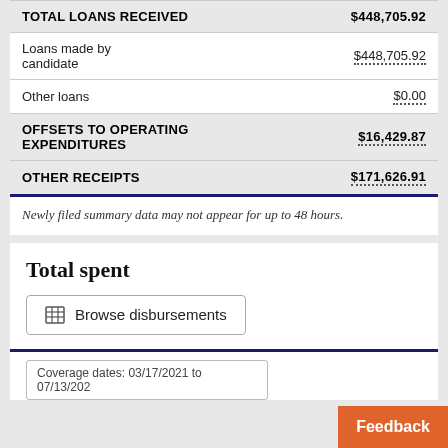| Category | Amount |
| --- | --- |
| TOTAL LOANS RECEIVED | $448,705.92 |
| Loans made by candidate | $448,705.92 |
| Other loans | $0.00 |
| OFFSETS TO OPERATING EXPENDITURES | $16,429.87 |
| OTHER RECEIPTS | $171,626.91 |
Newly filed summary data may not appear for up to 48 hours.
Total spent
Browse disbursements
Coverage dates: 03/17/2021 to 07/13/202...